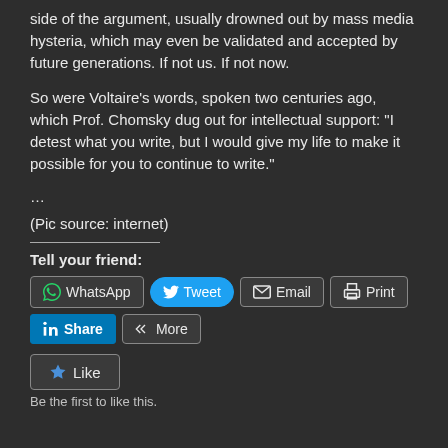side of the argument, usually drowned out by mass media hysteria, which may even be validated and accepted by future generations. If not us. If not now.
So were Voltaire's words, spoken two centuries ago, which Prof. Chomsky dug out for intellectual support: "I detest what you write, but I would give my life to make it possible for you to continue to write."
...
(Pic source: internet)
Tell your friend:
[Figure (screenshot): Social sharing buttons: WhatsApp, Tweet, Email, Print, Share (LinkedIn), More]
[Figure (screenshot): Like button and 'Be the first to like this.' text]